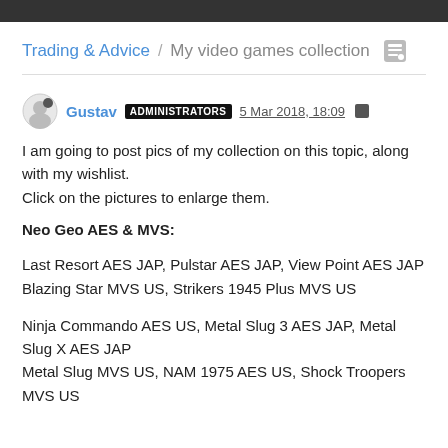Trading & Advice / My video games collection
Gustav ADMINISTRATORS 5 Mar 2018, 18:09
I am going to post pics of my collection on this topic, along with my wishlist.
Click on the pictures to enlarge them.
Neo Geo AES & MVS:
Last Resort AES JAP, Pulstar AES JAP, View Point AES JAP
Blazing Star MVS US, Strikers 1945 Plus MVS US
Ninja Commando AES US, Metal Slug 3 AES JAP, Metal Slug X AES JAP
Metal Slug MVS US, NAM 1975 AES US, Shock Troopers MVS US